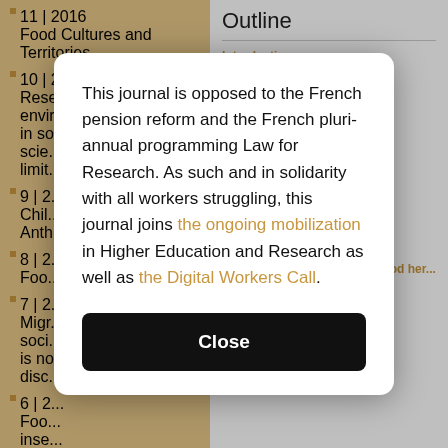11 | 2016 Food Cultures and Territories
10 | 2016 Research / ethics environment in social and human food sciences: limits
9 | 2... Children Anth...
8 | 2... Foo...
7 | 2... Migration, social... is no... disc...
6 | 2... Foo... inse...
5 | 2... Foo...
4 | 2... Loc...
3 | 2... Wine and Globalization
2 | 2003 Milk
1 | 2003
Outline
Introduction
ological fr...
ct
l perspec...
ionalization
ging of tou...
ducts back
culinary a...
iences wi...
setting
gaze
ucts
in everyda...
"foreign" fo...
Conclusion: A real gaze on food her...
This journal is opposed to the French pension reform and the French pluri-annual programming Law for Research. As such and in solidarity with all workers struggling, this journal joins the ongoing mobilization in Higher Education and Research as well as the Digital Workers Call.